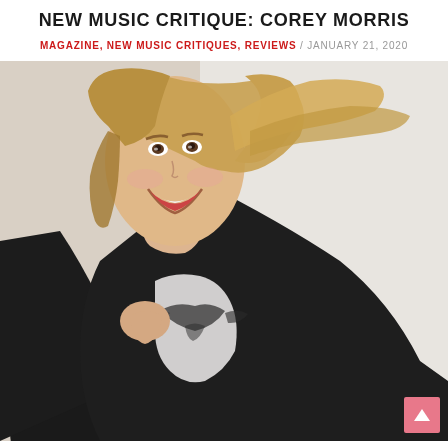NEW MUSIC CRITIQUE: COREY MORRIS
MAGAZINE, NEW MUSIC CRITIQUES, REVIEWS / JANUARY 21, 2020
[Figure (photo): A smiling blonde woman wearing a black blazer over a white top with a dark eagle/wings graphic print, posed dynamically against a white background, leaning forward with hair swept to the side.]